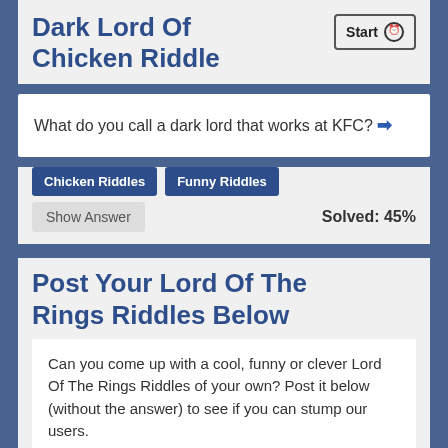Dark Lord Of Chicken Riddle
What do you call a dark lord that works at KFC? ➡
Chicken Riddles
Funny Riddles
Solved: 45%
Show Answer
Post Your Lord Of The Rings Riddles Below
Can you come up with a cool, funny or clever Lord Of The Rings Riddles of your own? Post it below (without the answer) to see if you can stump our users.